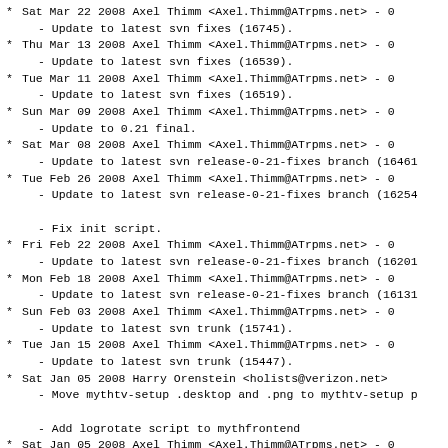Sat Mar 22 2008 Axel Thimm <Axel.Thimm@ATrpms.net> - 0
  - Update to latest svn fixes (16745).
Thu Mar 13 2008 Axel Thimm <Axel.Thimm@ATrpms.net> - 0
  - Update to latest svn fixes (16539).
Tue Mar 11 2008 Axel Thimm <Axel.Thimm@ATrpms.net> - 0
  - Update to latest svn fixes (16519).
Sun Mar 09 2008 Axel Thimm <Axel.Thimm@ATrpms.net> - 0
  - Update to 0.21 final.
Sat Mar 08 2008 Axel Thimm <Axel.Thimm@ATrpms.net> - 0
  - Update to latest svn release-0-21-fixes branch (16461
Tue Feb 26 2008 Axel Thimm <Axel.Thimm@ATrpms.net> - 0
  - Update to latest svn release-0-21-fixes branch (16254
  - Fix init script.
Fri Feb 22 2008 Axel Thimm <Axel.Thimm@ATrpms.net> - 0
  - Update to latest svn release-0-21-fixes branch (16201
Mon Feb 18 2008 Axel Thimm <Axel.Thimm@ATrpms.net> - 0
  - Update to latest svn release-0-21-fixes branch (16131
Sun Feb 03 2008 Axel Thimm <Axel.Thimm@ATrpms.net> - 0
  - Update to latest svn trunk (15741).
Tue Jan 15 2008 Axel Thimm <Axel.Thimm@ATrpms.net> - 0
  - Update to latest svn trunk (15447).
Sat Jan 05 2008 Harry Orenstein <holists@verizon.net>
  - Move mythtv-setup .desktop and .png to mythtv-setup p
  - Add logrotate script to mythfrontend
Sat Jan 05 2008 Axel Thimm <Axel.Thimm@ATrpms.net> - 0
  - Update to latest svn trunk (15333).
Tue Nov 20 2007 Axel Thimm <Axel.Thimm@ATrpms.net> - 0
  - Update to latest svn trunk (14921).
Thu Nov 01 2007 Axel Thimm <Axel.Thimm@ATrpms.net> - 0
  - Update to latest svn trunk (14785).
* Oct ...